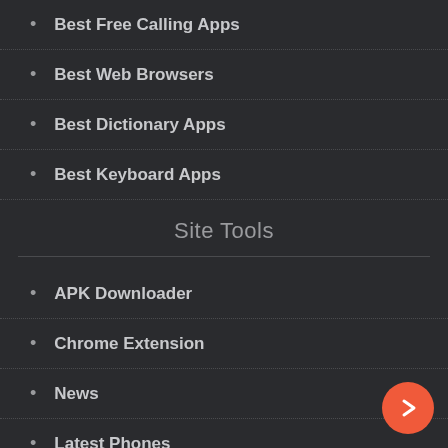Best Free Calling Apps
Best Web Browsers
Best Dictionary Apps
Best Keyboard Apps
Site Tools
APK Downloader
Chrome Extension
News
Latest Phones
Blog
Tutorials